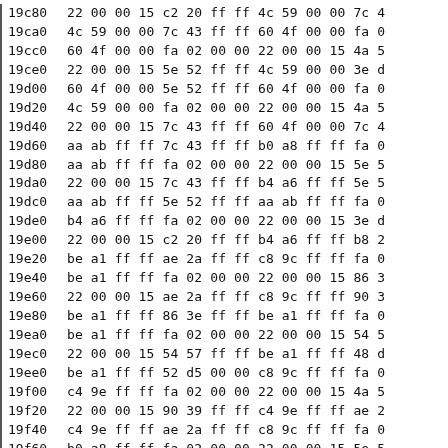| 19c80 | 22 00 00 15 c2 20 ff ff 4c 59 00 00 7c 4 |
| 19ca0 | 4c 59 00 00 7c 43 ff ff 60 4f 00 00 fa 0 |
| 19cc0 | 60 4f 00 00 fa 02 00 00 22 00 00 15 4a 5 |
| 19ce0 | 22 00 00 15 5e 52 ff ff 4c 59 00 00 3e d |
| 19d00 | 60 4f 00 00 5e 52 ff ff 60 4f 00 00 fa 0 |
| 19d20 | 4c 59 00 00 fa 02 00 00 22 00 00 15 4a 5 |
| 19d40 | 22 00 00 15 7c 43 ff ff 60 4f 00 00 7c 4 |
| 19d60 | aa ab ff ff 7c 43 ff ff b0 a8 ff ff fa 0 |
| 19d80 | aa ab ff ff fa 02 00 00 22 00 00 15 5e 5 |
| 19da0 | 22 00 00 15 7c 43 ff ff b4 a6 ff ff 5e 5 |
| 19dc0 | aa ab ff ff 5e 52 ff ff aa ab ff ff fa 0 |
| 19de0 | b4 a6 ff ff fa 02 00 00 22 00 00 15 3e d |
| 19e00 | 22 00 00 15 c2 20 ff ff b4 a6 ff ff b8 2 |
| 19e20 | be a1 ff ff ae 2a ff ff c8 9c ff ff fa 0 |
| 19e40 | be a1 ff ff fa 02 00 00 22 00 00 15 86 3 |
| 19e60 | 22 00 00 15 ae 2a ff ff c8 9c ff ff 90 3 |
| 19e80 | be a1 ff ff 86 3e ff ff be a1 ff ff fa 0 |
| 19ea0 | be a1 ff ff fa 02 00 00 22 00 00 15 54 5 |
| 19ec0 | 22 00 00 15 54 57 ff ff be a1 ff ff 48 d |
| 19ee0 | be a1 ff ff 52 d5 00 00 c8 9c ff ff fa 0 |
| 19f00 | c4 9e ff ff fa 02 00 00 22 00 00 15 4a 5 |
| 19f20 | 22 00 00 15 90 39 ff ff c4 9e ff ff ae 2 |
| 19f40 | c4 9e ff ff ae 2a ff ff c8 9c ff ff fa 0 |
| 19f60 | b0 a8 ff ff fa 02 00 00 22 00 00 15 5e 5 |
| 19f80 | 22 00 00 15 7c 43 ff ff b0 a8 ff ff 7c 4 |
| 19fa0 | 56 54 00 00 68 4d ff ff 56 54 00 00 f4 0 |
| 19fc0 | 00 00 00 00 ec 09 00 00 22 00 00 33 58 d |
| 19fe0 | 26 00 00 15 fe 02 ff ff 14 f6 ff ff c2 2 |
| 1a000 | 14 f6 ff ff 02 fd 00 00 ec 09 00 00 00 0 |
| 1a020 | 4c 09 45 31 35 2d 36 00 2a 00 01 00 58 |